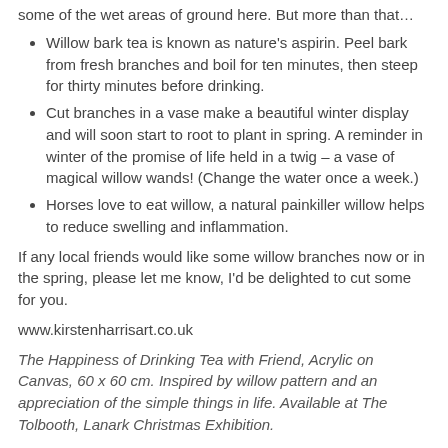some of the wet areas of ground here. But more than that…
Willow bark tea is known as nature's aspirin. Peel bark from fresh branches and boil for ten minutes, then steep for thirty minutes before drinking.
Cut branches in a vase make a beautiful winter display and will soon start to root to plant in spring. A reminder in winter of the promise of life held in a twig – a vase of magical willow wands! (Change the water once a week.)
Horses love to eat willow, a natural painkiller willow helps to reduce swelling and inflammation.
If any local friends would like some willow branches now or in the spring, please let me know, I'd be delighted to cut some for you.
www.kirstenharrisart.co.uk
The Happiness of Drinking Tea with Friend, Acrylic on Canvas, 60 x 60 cm. Inspired by willow pattern and an appreciation of the simple things in life. Available at The Tolbooth, Lanark Christmas Exhibition.
blog, Trees | alternative Xmas tree idea, Kirsten Harris Art, pine natural disinfectant, willow pattern, willow tea, willow tree